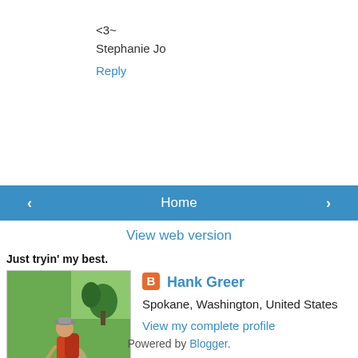<3~
Stephanie Jo
Reply
Home (navigation buttons with < and >)
View web version
Just tryin' my best.
[Figure (photo): Profile photo of a hiker with backpack on a green trail]
Hank Greer
Spokane, Washington, United States
View my complete profile
Powered by Blogger.